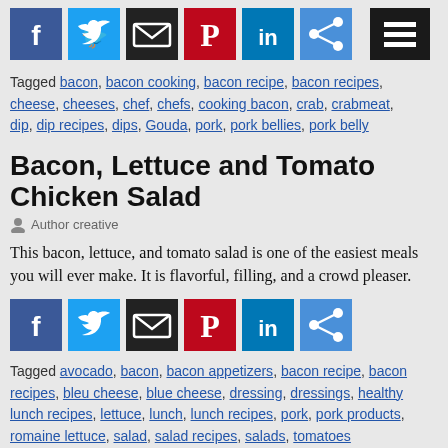[Figure (other): Social share icons bar: Facebook (blue), Twitter (light blue), Email (dark/black), Pinterest (red), LinkedIn (blue), Share (blue), and hamburger menu button (black) top right]
Tagged bacon, bacon cooking, bacon recipe, bacon recipes, cheese, cheeses, chef, chefs, cooking bacon, crab, crabmeat, dip, dip recipes, dips, Gouda, pork, pork bellies, pork belly
Bacon, Lettuce and Tomato Chicken Salad
Author creative
This bacon, lettuce, and tomato salad is one of the easiest meals you will ever make. It is flavorful, filling, and a crowd pleaser.
[Figure (other): Social share icons bar: Facebook (blue), Twitter (light blue), Email (dark/black), Pinterest (red), LinkedIn (blue), Share (blue)]
Tagged avocado, bacon, bacon appetizers, bacon recipe, bacon recipes, bleu cheese, blue cheese, dressing, dressings, healthy lunch recipes, lettuce, lunch, lunch recipes, pork, pork products, romaine lettuce, salad, salad recipes, salads, tomatoes
Fettuccine Alfredo with Bacon and Scallops
Author creative
If you're a bacon fan, this recipe will make your heart sing. The rich